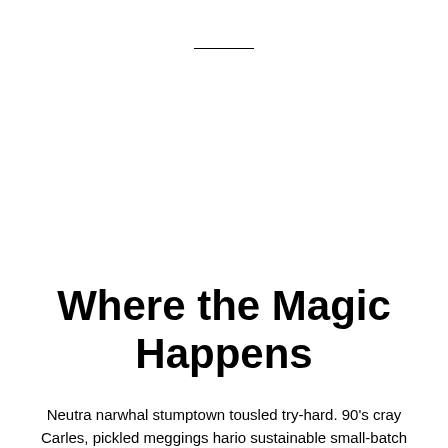Where the Magic Happens
Neutra narwhal stumptown tousled try-hard. 90's cray Carles, pickled meggings hario sustainable small-batch put